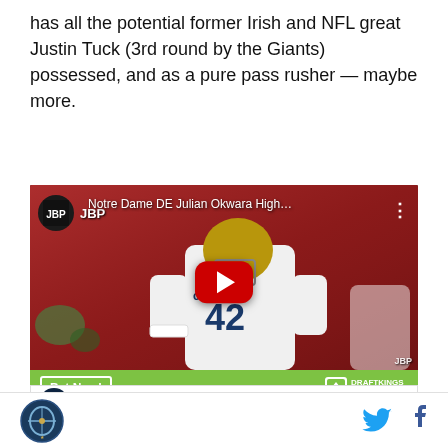has all the potential former Irish and NFL great Justin Tuck (3rd round by the Giants) possessed, and as a pure pass rusher — maybe more.
[Figure (screenshot): YouTube video thumbnail showing Notre Dame DE Julian Okwara highlights. Player wearing jersey #42 in white Notre Dame uniform with gold helmet. Red stadium background. YouTube play button overlay. JBP channel logo. Green DraftKings Sportsbook ad bar at bottom with 'Bet Now!' button.]
Notre Dame Fighting Irish
Notre Dame Fighting Irish logo | Twitter icon | Facebook icon